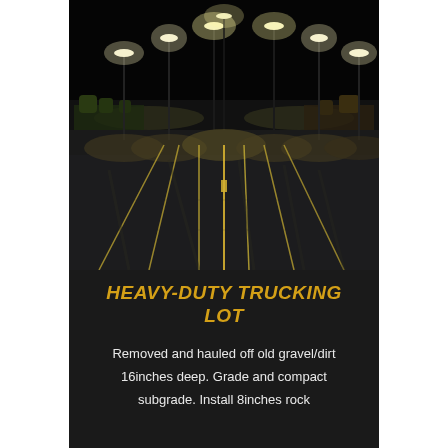[Figure (photo): Nighttime aerial view of an empty parking lot illuminated by tall LED street lights. The asphalt surface has yellow painted stripes for parking spaces. Trees and commercial buildings are visible in the background against a dark sky.]
HEAVY-DUTY TRUCKING LOT
Removed and hauled off old gravel/dirt 16inches deep. Grade and compact subgrade. Install 8inches rock